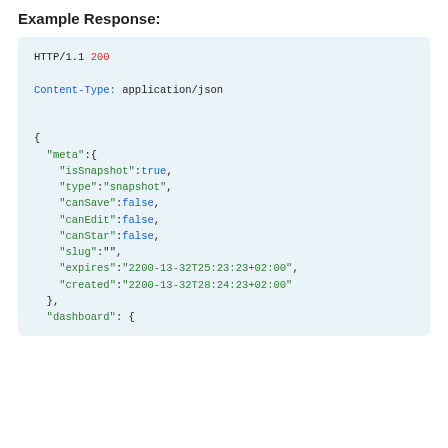Example Response:
HTTP/1.1 200
Content-Type: application/json

{
  "meta":{
    "isSnapshot":true,
    "type":"snapshot",
    "canSave":false,
    "canEdit":false,
    "canStar":false,
    "slug":"",
    "expires":"2200-13-32T25:23:23+02:00",
    "created":"2200-13-32T28:24:23+02:00"
  },
  "dashboard": {